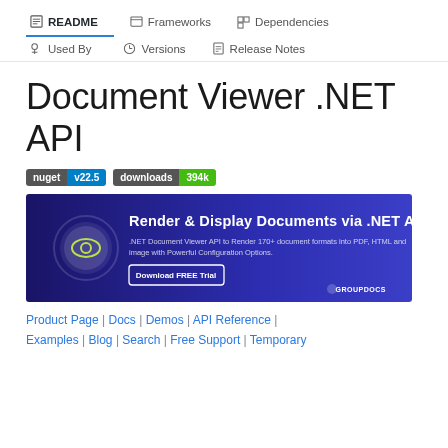README | Frameworks | Dependencies | Used By | Versions | Release Notes
Document Viewer .NET API
[Figure (infographic): Two badge pills: nuget v22.5 and downloads 394k]
[Figure (screenshot): GroupDocs banner: Render & Display Documents via .NET API. .NET Document Viewer API to Render 170+ document formats into PDF, HTML and image with Powerful Configuration Options. Download FREE Trial button.]
Product Page | Docs | Demos | API Reference | Examples | Blog | Search | Free Support | Temporary